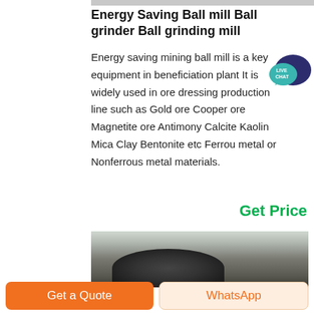[Figure (photo): Top portion of industrial ball mill equipment, partially cropped]
Energy Saving Ball mill Ball grinder Ball grinding mill
Energy saving mining ball mill is a key equipment in beneficiation plant It is widely used in ore dressing production line such as Gold ore Cooper ore Magnetite ore Antimony Calcite Kaolin Mica Clay Bentonite etc Ferrou metal or Nonferrous metal materials.
[Figure (illustration): Live Chat speech bubble icon in teal/dark blue]
Get Price
[Figure (photo): Industrial ball mill equipment inside a factory building]
Get a Quote  WhatsApp